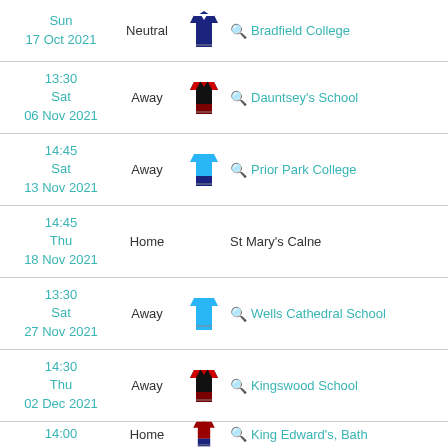| Date/Time | Venue | Kit | School |
| --- | --- | --- | --- |
| Sun
17 Oct 2021 | Neutral | (navy kit) | Bradfield College |
| 13:30
Sat
06 Nov 2021 | Away | (black/red kit) | Dauntsey's School |
| 14:45
Sat
13 Nov 2021 | Away | (light blue/navy kit) | Prior Park College |
| 14:45
Thu
18 Nov 2021 | Home |  | St Mary's Calne |
| 13:30
Sat
27 Nov 2021 | Away | (light blue kit) | Wells Cathedral School |
| 14:30
Thu
02 Dec 2021 | Away | (black/red kit) | Kingswood School |
| 14:00
Sat | Home | (maroon/navy kit) | King Edward's, Bath |